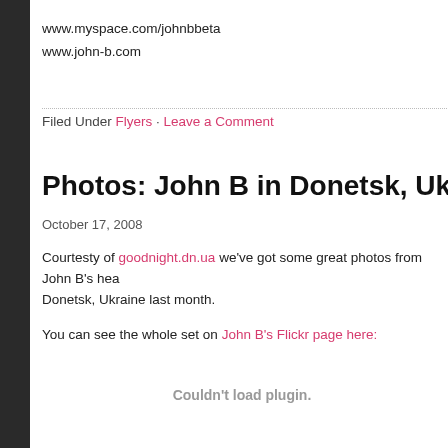www.myspace.com/johnbbeta
www.john-b.com
Filed Under Flyers · Leave a Comment
Photos: John B in Donetsk, Ukraine (Sept…
October 17, 2008
Courtesty of goodnight.dn.ua we've got some great photos from John B's headlining set in Donetsk, Ukraine last month.
You can see the whole set on John B's Flickr page here:
[Figure (other): Plugin failed to load — 'Couldn't load plugin.' message displayed]